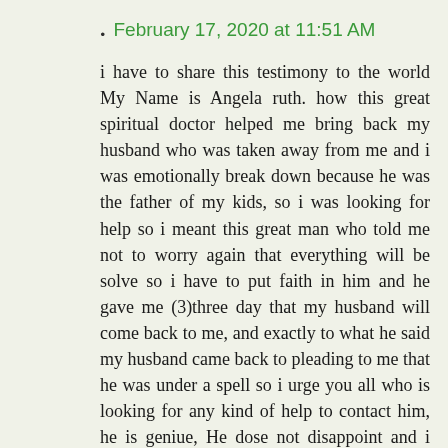. February 17, 2020 at 11:51 AM
i have to share this testimony to the world My Name is Angela ruth. how this great spiritual doctor helped me bring back my husband who was taken away from me and i was emotionally break down because he was the father of my kids, so i was looking for help so i meant this great man who told me not to worry again that everything will be solve so i have to put faith in him and he gave me (3)three day that my husband will come back to me, and exactly to what he said my husband came back to pleading to me that he was under a spell so i urge you all who is looking for any kind of help to contact him, he is geniue, He dose not disappoint and i want you all to be careful who you contact because they are scammers all over the internet clamming to be a spell caster and take your money and never cast the spell so i want you all seeking for any problem he is a real spell caster because he inherit from his ancestors so he is geniue. contact him through his Email address : moneytemple@outlook.com You can also